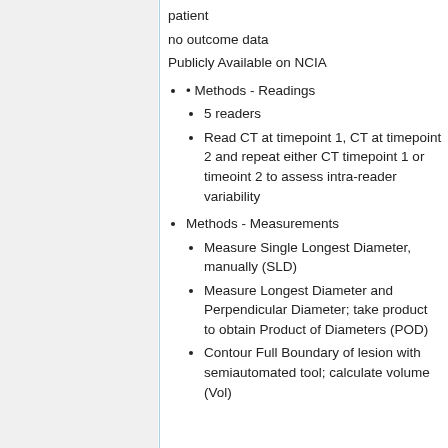patient
no outcome data
Publicly Available on NCIA
Methods - Readings
5 readers
Read CT at timepoint 1, CT at timepoint 2 and repeat either CT timepoint 1 or timeoint 2 to assess intra-reader variability
Methods - Measurements
Measure Single Longest Diameter, manually (SLD)
Measure Longest Diameter and Perpendicular Diameter; take product to obtain Product of Diameters (POD)
Contour Full Boundary of lesion with semiautomated tool; calculate volume (Vol)